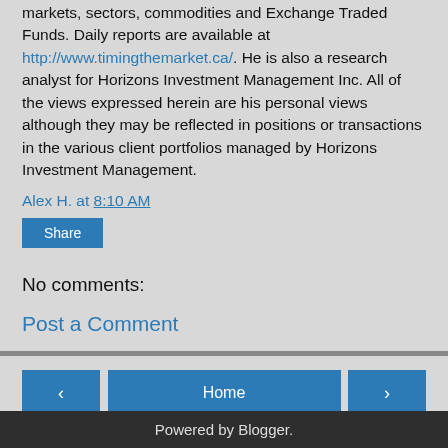markets, sectors, commodities and Exchange Traded Funds. Daily reports are available at http://www.timingthemarket.ca/. He is also a research analyst for Horizons Investment Management Inc. All of the views expressed herein are his personal views although they may be reflected in positions or transactions in the various client portfolios managed by Horizons Investment Management.
Alex H. at 8:10 AM
Share
No comments:
Post a Comment
Home
View web version
Powered by Blogger.